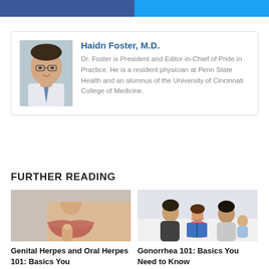[Figure (other): Social media share buttons: Facebook (blue) and Twitter (cyan) side by side]
[Figure (photo): Author bio card with photo of Dr. Haidn Foster]
Haidn Foster, M.D.
Dr. Foster is President and Editor-in-Chief of Pride in Practice. He is a resident physician at Penn State Health and an alumnus of the University of Cincinnati College of Medicine.
FURTHER READING
[Figure (photo): Close-up of woman's face showing lips and chin, finger near mouth]
[Figure (photo): Two men reading a book with two young children on a bed]
Genital Herpes and Oral Herpes 101: Basics You
Gonorrhea 101: Basics You Need to Know